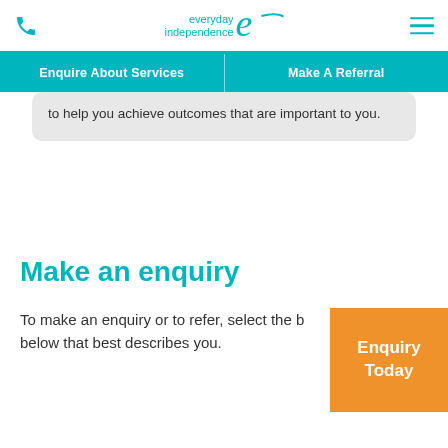everyday independence [logo with swoosh]
Enquire About Services | Make A Referral
to help you achieve outcomes that are important to you.
Make an enquiry
To make an enquiry or to refer, select the button below that best describes you.
Enquiry Today